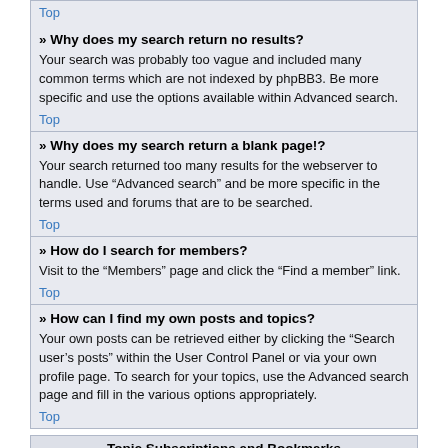Top
» Why does my search return no results?
Your search was probably too vague and included many common terms which are not indexed by phpBB3. Be more specific and use the options available within Advanced search.
Top
» Why does my search return a blank page!?
Your search returned too many results for the webserver to handle. Use "Advanced search" and be more specific in the terms used and forums that are to be searched.
Top
» How do I search for members?
Visit to the “Members” page and click the “Find a member” link.
Top
» How can I find my own posts and topics?
Your own posts can be retrieved either by clicking the “Search user’s posts” within the User Control Panel or via your own profile page. To search for your topics, use the Advanced search page and fill in the various options appropriately.
Top
Topic Subscriptions and Bookmarks